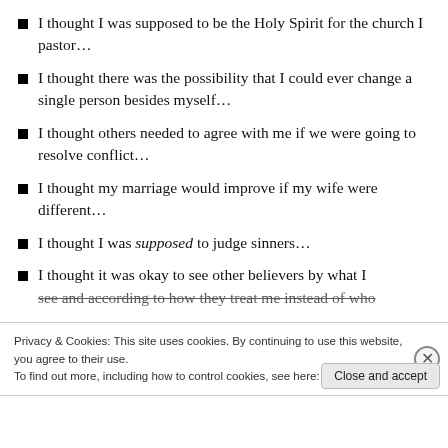I thought I was supposed to be the Holy Spirit for the church I pastor…
I thought there was the possibility that I could ever change a single person besides myself…
I thought others needed to agree with me if we were going to resolve conflict…
I thought my marriage would improve if my wife were different…
I thought I was supposed to judge sinners…
I thought it was okay to see other believers by what I see and according to how they treat me instead of who…
Privacy & Cookies: This site uses cookies. By continuing to use this website, you agree to their use.
To find out more, including how to control cookies, see here: Cookie Policy